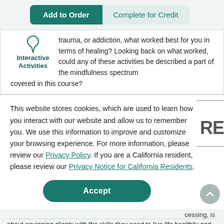[Figure (screenshot): Two buttons: 'Add to Order' (teal/dark green filled) and 'Complete for Credit' (light teal outline style)]
trauma, or addiction, what worked best for you in terms of healing? Looking back on what worked, could any of these activities be described a part of the mindfulness spectrum covered in this course?
This website stores cookies, which are used to learn how you interact with our website and allow us to remember you. We use this information to improve and customize your browsing experience. For more information, please review our Privacy Policy. If you are a California resident, please review our Privacy Notice for California Residents.
[Figure (screenshot): Accept button (teal rounded rectangle)]
cessing, is
about equipping clients with the skills they need to live life healthily and happily